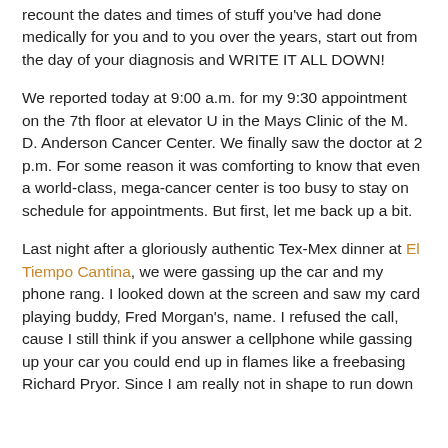recount the dates and times of stuff you've had done medically for you and to you over the years, start out from the day of your diagnosis and WRITE IT ALL DOWN!
We reported today at 9:00 a.m. for my 9:30 appointment on the 7th floor at elevator U in the Mays Clinic of the M. D. Anderson Cancer Center. We finally saw the doctor at 2 p.m. For some reason it was comforting to know that even a world-class, mega-cancer center is too busy to stay on schedule for appointments. But first, let me back up a bit.
Last night after a gloriously authentic Tex-Mex dinner at El Tiempo Cantina, we were gassing up the car and my phone rang. I looked down at the screen and saw my card playing buddy, Fred Morgan's, name. I refused the call, cause I still think if you answer a cellphone while gassing up your car you could end up in flames like a freebasing Richard Pryor. Since I am really not in shape to run down